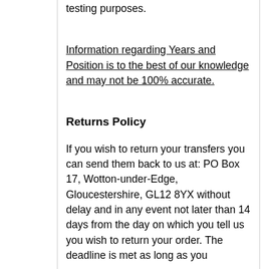testing purposes.
Information regarding Years and Position is to the best of our knowledge and may not be 100% accurate.
Returns Policy
If you wish to return your transfers you can send them back to us at: PO Box 17, Wotton-under-Edge, Gloucestershire, GL12 8YX without delay and in any event not later than 14 days from the day on which you tell us you wish to return your order. The deadline is met as long as you